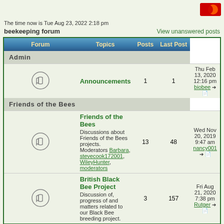The time now is Tue Aug 23, 2022 2:18 pm
beekeeping forum
View unanswered posts
| Forum | Topics | Posts | Last Post |
| --- | --- | --- | --- |
| Admin |  |  |  |
| Announcements | 1 | 1 | Thu Feb 13, 2020 12:16 pm biobee |
| Friends of the Bees |  |  |  |
| Friends of the Bees — Discussions about Friends of the Bees projects. Moderators Barbara, stevecook172001, WileyHunter, moderators | 13 | 48 | Wed Nov 20, 2019 9:47 am nancy001 |
| British Black Bee Project — Discussion of, progress of and matters related to our Black Bee breeding project. | 3 | 157 | Fri Aug 21, 2020 7:38 pm Rutger |